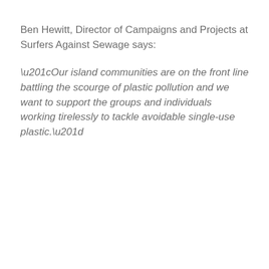Ben Hewitt, Director of Campaigns and Projects at Surfers Against Sewage says:
“Our island communities are on the front line battling the scourge of plastic pollution and we want to support the groups and individuals working tirelessly to tackle avoidable single-use plastic.”